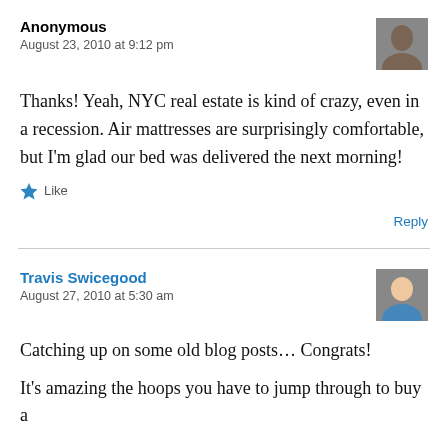Anonymous
August 23, 2010 at 9:12 pm
Thanks! Yeah, NYC real estate is kind of crazy, even in a recession. Air mattresses are surprisingly comfortable, but I'm glad our bed was delivered the next morning!
Like
Reply
Travis Swicegood
August 27, 2010 at 5:30 am
Catching up on some old blog posts… Congrats!
It's amazing the hoops you have to jump through to buy a